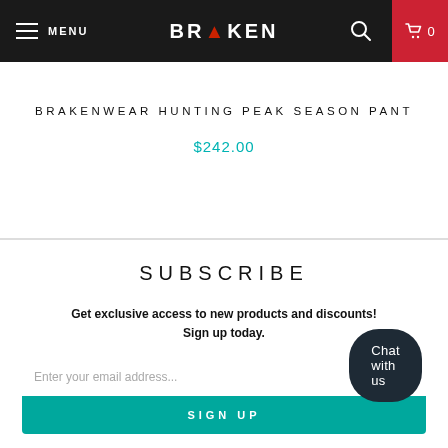MENU | BRAKEN | 0
BRAKENWEAR HUNTING PEAK SEASON PANT
$242.00
SUBSCRIBE
Get exclusive access to new products and discounts! Sign up today.
Enter your email address...
SIGN UP
Chat with us